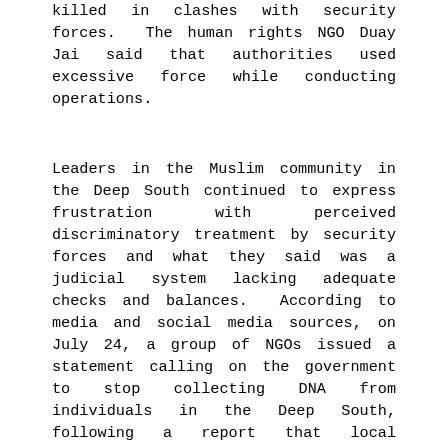killed in clashes with security forces. The human rights NGO Duay Jai said that authorities used excessive force while conducting operations.
Leaders in the Muslim community in the Deep South continued to express frustration with perceived discriminatory treatment by security forces and what they said was a judicial system lacking adequate checks and balances. According to media and social media sources, on July 24, a group of NGOs issued a statement calling on the government to stop collecting DNA from individuals in the Deep South, following a report that local authorities collected DNA samples from 11 children and elderly people in the Sai Buri District of Pattani Province. Duay Jai objected to the collection of DNA from family members of suspected insurgents. In previous years, the military collected DNA from conscripts in the Deep South, but not from conscripts in other regions. A spokesperson for the Internal Security Operation Command for Region 4, which is in charge of security in the Deep South, said